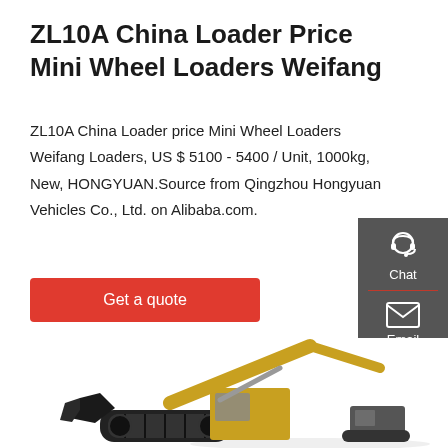ZL10A China Loader Price Mini Wheel Loaders Weifang
ZL10A China Loader price Mini Wheel Loaders Weifang Loaders, US $ 5100 - 5400 / Unit, 1000kg, New, HONGYUAN.Source from Qingzhou Hongyuan Vehicles Co., Ltd. on Alibaba.com.
Get a quote
[Figure (screenshot): Dark grey sidebar with Chat (headset icon), Email (envelope icon), and Contact (speech bubble icon) buttons]
[Figure (photo): Yellow and black excavator/wheel loader machine on white background, showing the arm, bucket, and cab]